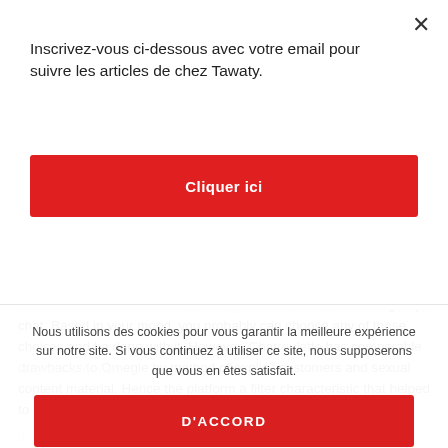Inscrivez-vous ci-dessous avec votre email pour suivre les articles de chez Tawaty.
Cliquer ici
You can choose between video chat, textual content chat and group chat. Based in your mood, you probably can choose any of those choices and be done with it. However, Chatroulette has comparable drawbacks to Omegle by method of explicit customers and sexual content material. Hence the platform a filter characteristic that helped to remove PG 13 topics.
Nous utilisons des cookies pour vous garantir la meilleure expérience sur notre site. Si vous continuez à utiliser ce site, nous supposerons que vous en êtes satisfait.
D'ACCORD